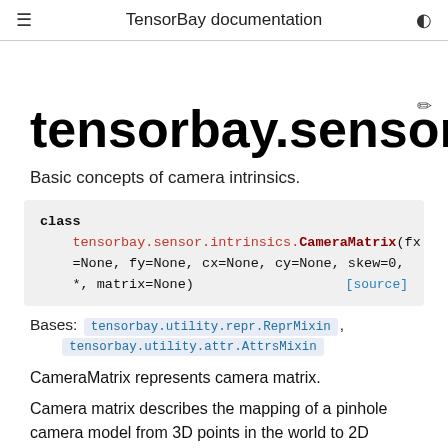TensorBay documentation
tensorbay.sensor.intrin
Basic concepts of camera intrinsics.
class tensorbay.sensor.intrinsics.CameraMatrix(fx=None, fy=None, cx=None, cy=None, skew=0, *, matrix=None) [source]
Bases: tensorbay.utility.repr.ReprMixin, tensorbay.utility.attr.AttrsMixin
CameraMatrix represents camera matrix.
Camera matrix describes the mapping of a pinhole camera model from 3D points in the world to 2D